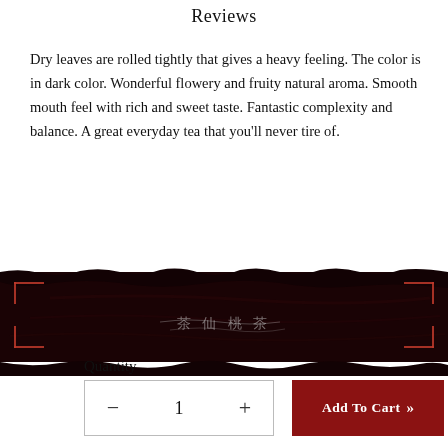Reviews
Dry leaves are rolled tightly that gives a heavy feeling. The color is in dark color. Wonderful flowery and fruity natural aroma. Smooth mouth feel with rich and sweet taste. Fantastic complexity and balance. A great everyday tea that you'll never tire of.
[Figure (illustration): Dark ink brush stroke banner with red corner bracket decorations and Chinese characters in the center]
Quantity
− 1 +
Add To Cart »